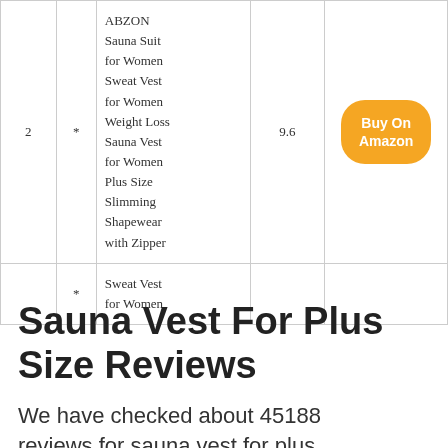|  |  | Name | Score | Action |
| --- | --- | --- | --- | --- |
| 2 | * | ABZON Sauna Suit for Women Sweat Vest for Women Weight Loss Sauna Vest for Women Plus Size Slimming Shapewear with Zipper | 9.6 | Buy On Amazon |
|  | * | Sweat Vest for Women |  |  |
Sauna Vest For Plus Size Reviews
We have checked about 45188 reviews for sauna vest for plus